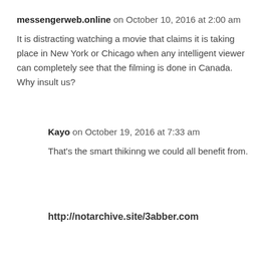messengerweb.online on October 10, 2016 at 2:00 am
It is distracting watching a movie that claims it is taking place in New York or Chicago when any intelligent viewer can completely see that the filming is done in Canada. Why insult us?
Kayo on October 19, 2016 at 7:33 am
That's the smart thikinng we could all benefit from.
http://notarchive.site/3abber.com